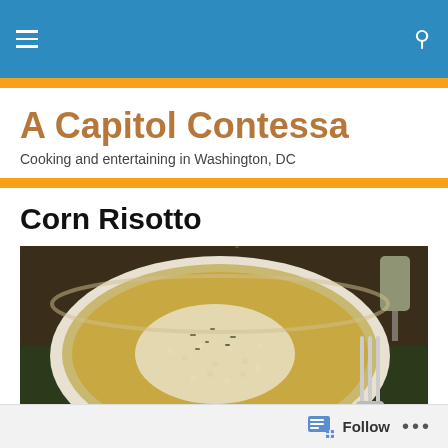A Capitol Contessa — navigation bar with menu and search icons
A Capitol Contessa
Cooking and entertaining in Washington, DC
Corn Risotto
[Figure (photo): A bowl of corn risotto topped with grated parmesan cheese and fresh herbs, with a fork and glass of white wine visible in the background on a dark green surface.]
Follow  •••